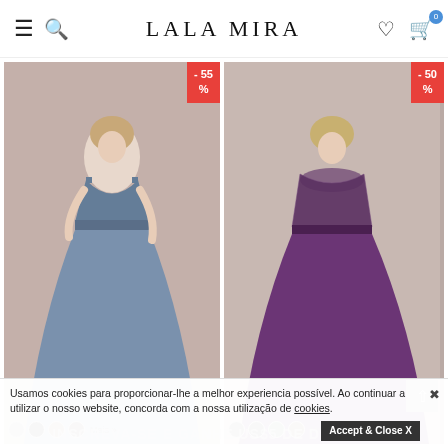LALA MIRA
[Figure (photo): Woman wearing a long dusty blue V-neck chiffon bridesmaid gown with empire waist. Red sale badge top right: -55%]
[Figure (photo): Woman wearing a long purple/plum sleeveless lace-top chiffon bridesmaid gown. Red sale badge top right: -50%]
Usamos cookies para proporcionar-lhe a melhor experiencia possível. Ao continuar a utilizar o nosso website, concorda com a nossa utilização de cookies.
Accept & Close X
INSCREVA-SE E GANHE US$5 DE DESCONTO